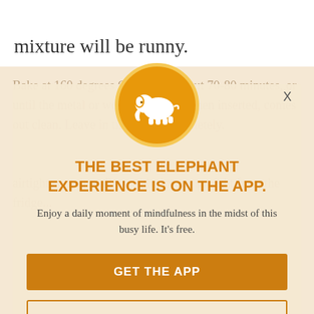mixture will be runny.
[Figure (infographic): App promotion modal overlay with orange elephant logo circle, title 'THE BEST ELEPHANT EXPERIENCE IS ON THE APP.', subtitle text, and two buttons: GET THE APP and OPEN IN APP]
THE BEST ELEPHANT EXPERIENCE IS ON THE APP.
Enjoy a daily moment of mindfulness in the midst of this busy life. It's free.
GET THE APP
OPEN IN APP